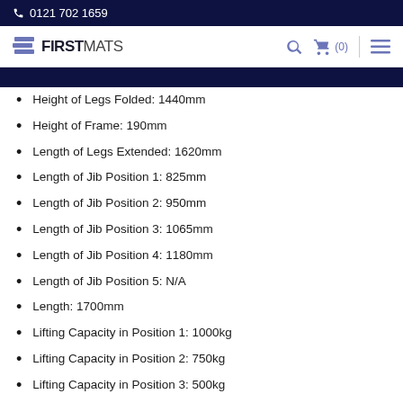0121 702 1659
[Figure (logo): FirstMats logo with layered pages icon, search icon, cart icon, and hamburger menu]
Height of Legs Folded: 1440mm
Height of Frame: 190mm
Length of Legs Extended: 1620mm
Length of Jib Position 1: 825mm
Length of Jib Position 2: 950mm
Length of Jib Position 3: 1065mm
Length of Jib Position 4: 1180mm
Length of Jib Position 5: N/A
Length: 1700mm
Lifting Capacity in Position 1: 1000kg
Lifting Capacity in Position 2: 750kg
Lifting Capacity in Position 3: 500kg
Lifting Capacity in Position 4: 250kg
Lifting Capacity in Position 5: N/A